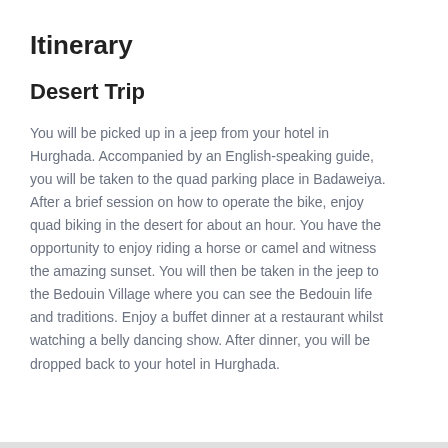Itinerary
Desert Trip
You will be picked up in a jeep from your hotel in Hurghada. Accompanied by an English-speaking guide, you will be taken to the quad parking place in Badaweiya. After a brief session on how to operate the bike, enjoy quad biking in the desert for about an hour. You have the opportunity to enjoy riding a horse or camel and witness the amazing sunset. You will then be taken in the jeep to the Bedouin Village where you can see the Bedouin life and traditions. Enjoy a buffet dinner at a restaurant whilst watching a belly dancing show. After dinner, you will be dropped back to your hotel in Hurghada.